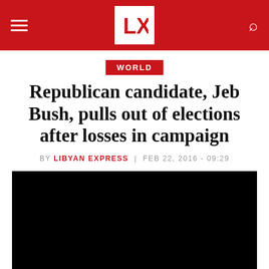Libyan Express - navigation header with logo
WORLD
Republican candidate, Jeb Bush, pulls out of elections after losses in campaign
BY LIBYAN EXPRESS | FEB 22, 2016 - 09:29
[Figure (photo): Black/dark image placeholder for article photo]